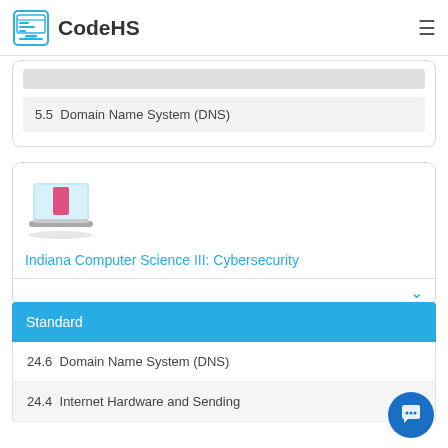CodeHS
5.5  Domain Name System (DNS)
[Figure (illustration): Laptop icon with Indiana state silhouette on screen, representing the Indiana Computer Science III: Cybersecurity course]
Indiana Computer Science III: Cybersecurity
Standard
24.6  Domain Name System (DNS)
24.4  Internet Hardware and Sending